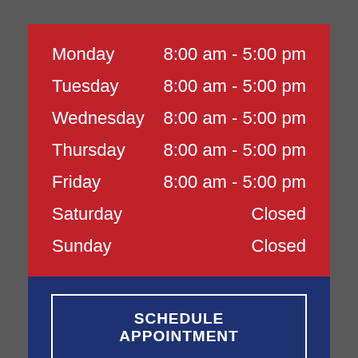| Day | Hours |
| --- | --- |
| Monday | 8:00 am - 5:00 pm |
| Tuesday | 8:00 am - 5:00 pm |
| Wednesday | 8:00 am - 5:00 pm |
| Thursday | 8:00 am - 5:00 pm |
| Friday | 8:00 am - 5:00 pm |
| Saturday | Closed |
| Sunday | Closed |
SCHEDULE APPOINTMENT